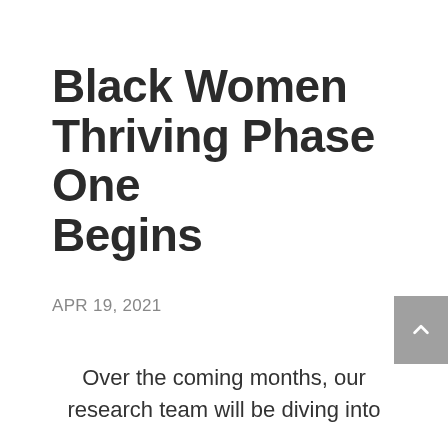Black Women Thriving Phase One Begins
APR 19, 2021
Over the coming months, our research team will be diving into